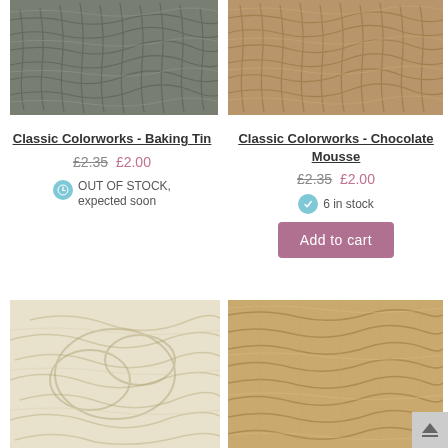[Figure (photo): Grey/green yarn skein close-up (Baking Tin)]
[Figure (photo): Tan/brown yarn skein close-up (Chocolate Mousse)]
Classic Colorworks - Baking Tin
£2.35  £2.00
OUT OF STOCK, expected soon
Classic Colorworks - Chocolate Mousse
£2.35  £2.00
6 in stock
Add to cart
[Figure (photo): Cream/white tangled yarn skein]
[Figure (photo): Light tan/beige yarn skein close-up]